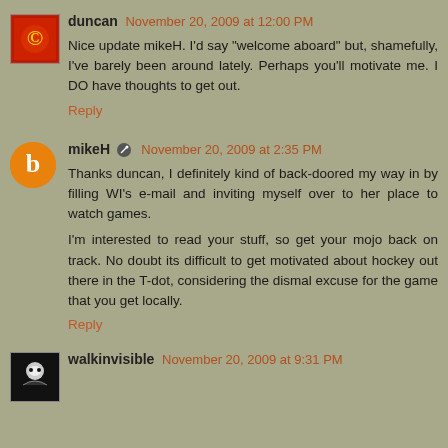duncan November 20, 2009 at 12:00 PM
Nice update mikeH. I'd say "welcome aboard" but, shamefully, I've barely been around lately. Perhaps you'll motivate me. I DO have thoughts to get out.
Reply
mikeH November 20, 2009 at 2:35 PM
Thanks duncan, I definitely kind of back-doored my way in by filling WI's e-mail and inviting myself over to her place to watch games.
I'm interested to read your stuff, so get your mojo back on track. No doubt its difficult to get motivated about hockey out there in the T-dot, considering the dismal excuse for the game that you get locally.
Reply
walkinvisible November 20, 2009 at 9:31 PM